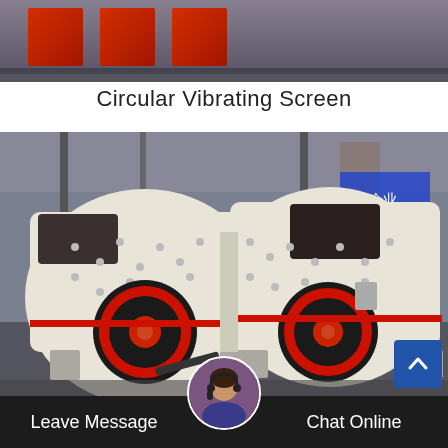[Figure (photo): Top portion of industrial equipment (red machinery parts) against a gray/blurred factory background]
Circular Vibrating Screen
[Figure (photo): Two large white and red hammer crushers / impact crushers in an industrial factory setting with steel structure visible in background]
[Figure (photo): Customer service avatar - woman wearing headset]
Leave Message   Chat Online
Hammer Crusher